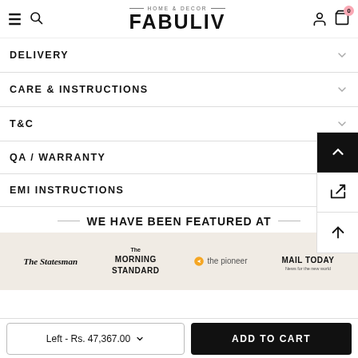HOME & DECOR FABULIV
DELIVERY
CARE & INSTRUCTIONS
T&C
QA / WARRANTY
EMI INSTRUCTIONS
WE HAVE BEEN FEATURED AT
[Figure (other): Press logos strip showing The Statesman, The Morning Standard, the pioneer, Mail Today]
Left - Rs. 47,367.00
ADD TO CART